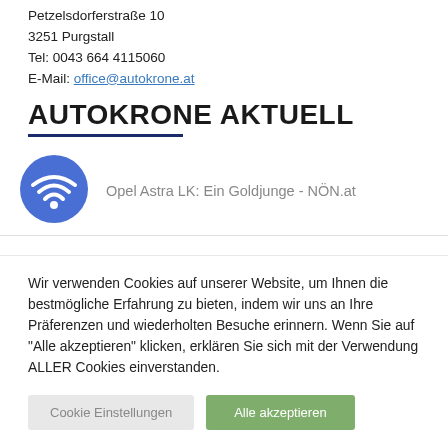Petzelsdorferstraße 10
3251 Purgstall
Tel: 0043 664 4115060
E-Mail: office@autokrone.at
AUTOKRONE AKTUELL
Opel Astra LK: Ein Goldjunge - NÖN.at
Wir verwenden Cookies auf unserer Website, um Ihnen die bestmögliche Erfahrung zu bieten, indem wir uns an Ihre Präferenzen und wiederholten Besuche erinnern. Wenn Sie auf "Alle akzeptieren" klicken, erklären Sie sich mit der Verwendung ALLER Cookies einverstanden.
Cookie Einstellungen
Alle akzeptieren